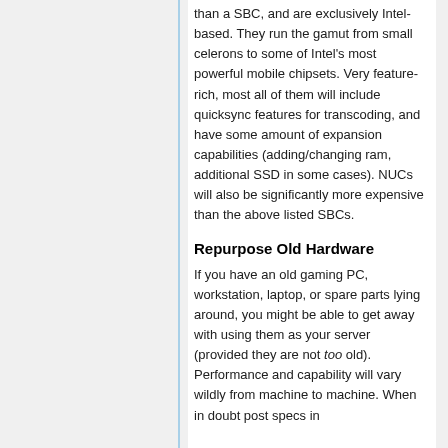than a SBC, and are exclusively Intel-based. They run the gamut from small celerons to some of Intel's most powerful mobile chipsets. Very feature-rich, most all of them will include quicksync features for transcoding, and have some amount of expansion capabilities (adding/changing ram, additional SSD in some cases). NUCs will also be significantly more expensive than the above listed SBCs.
Repurpose Old Hardware
If you have an old gaming PC, workstation, laptop, or spare parts lying around, you might be able to get away with using them as your server (provided they are not too old). Performance and capability will vary wildly from machine to machine. When in doubt post specs in